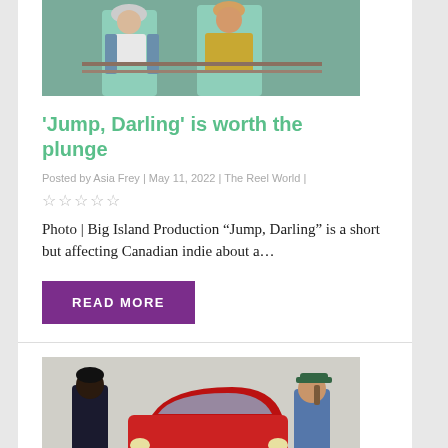[Figure (photo): Scene from Jump Darling movie, two people standing at a railing]
'Jump, Darling' is worth the plunge
Posted by Asia Frey | May 11, 2022 | The Reel World |
★★★★★ (star rating icons)
Photo | Big Island Production “Jump, Darling” is a short but affecting Canadian indie about a…
READ MORE
[Figure (photo): Two people standing on opposite sides of a red vintage car in a parking area]